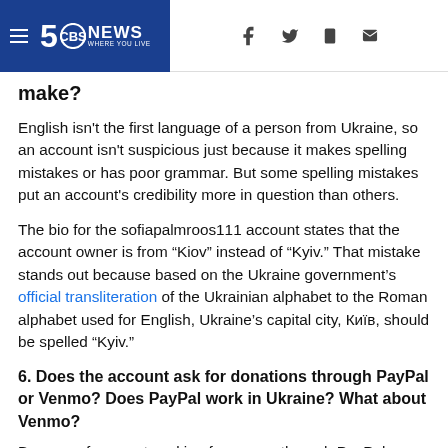5 NEWS WHERE YOU LIVE
make?
English isn't the first language of a person from Ukraine, so an account isn't suspicious just because it makes spelling mistakes or has poor grammar. But some spelling mistakes put an account's credibility more in question than others.
The bio for the sofiapalmroos111 account states that the account owner is from “Kiov” instead of “Kyiv.” That mistake stands out because based on the Ukraine government's official transliteration of the Ukrainian alphabet to the Roman alphabet used for English, Ukraine’s capital city, Київ, should be spelled “Kyiv.”
6. Does the account ask for donations through PayPal or Venmo? Does PayPal work in Ukraine? What about Venmo?
Be wary of accounts asking for money through PayPal or Venmo. The only PayPal feature available to Ukrainians is